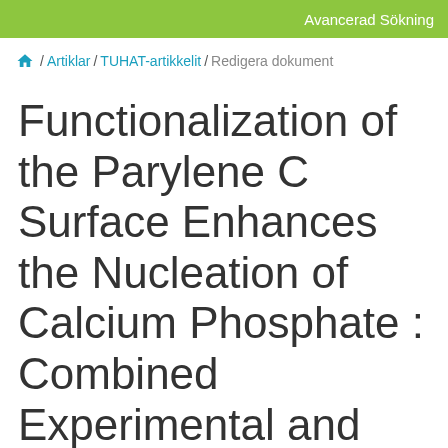Avancerad Sökning
🏠 / Artiklar / TUHAT-artikkelit / Redigera dokument
Functionalization of the Parylene C Surface Enhances the Nucleation of Calcium Phosphate : Combined Experimental and Molecular Dynamics